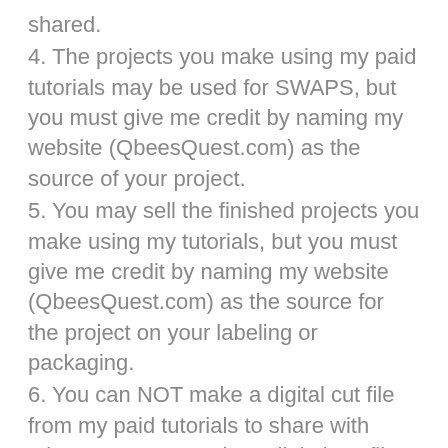shared.
4. The projects you make using my paid tutorials may be used for SWAPS, but you must give me credit by naming my website (QbeesQuest.com) as the source of your project.
5. You may sell the finished projects you make using my tutorials, but you must give me credit by naming my website (QbeesQuest.com) as the source for the project on your labeling or packaging.
6. You can NOT make a digital cut file from my paid tutorials to share with others. You may make a digital cut file for your own personal use.
7. The projects you make using my paid tutorials can NOT be used for publication or